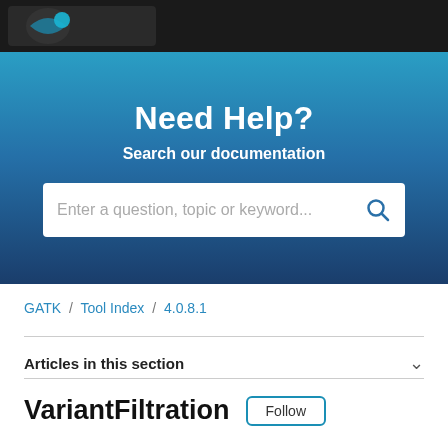[Figure (logo): GATK logo partial view - dark background with logo mark]
Need Help?
Search our documentation
Enter a question, topic or keyword...
GATK / Tool Index / 4.0.8.1
Articles in this section
VariantFiltration
Follow